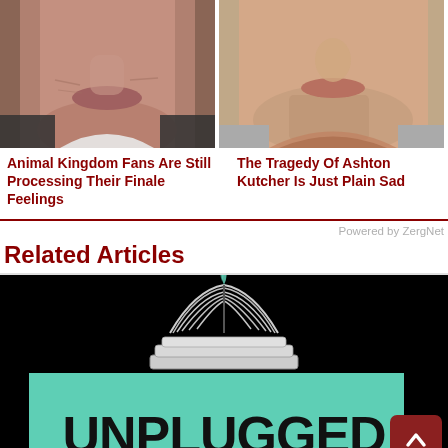[Figure (photo): Close-up photo of an older man's lower face showing skin texture, wearing a white shirt]
[Figure (photo): Close-up photo of a younger man (Ashton Kutcher) with stubble, wearing a plaid shirt]
Animal Kingdom Fans Are Still Processing Their Finale Feelings
The Tragedy Of Ashton Kutcher Is Just Plain Sad
Powered by ZergNet
Related Articles
[Figure (logo): Unplugged logo: stack of books with pages fanning open on a teal/mint rectangle background, bold black text 'UNPLUGGED' below, all on black background]